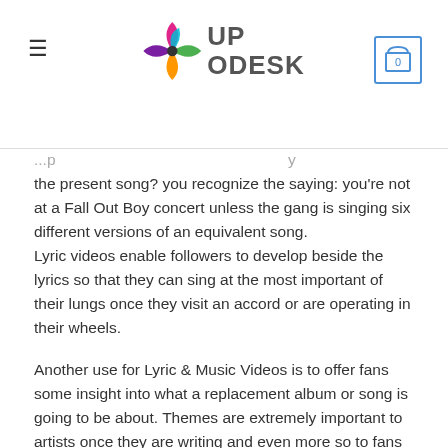UPODESK — navigation header with logo and cart
the present song? you recognize the saying: you're not at a Fall Out Boy concert unless the gang is singing six different versions of an equivalent song.
Lyric videos enable followers to develop beside the lyrics so that they can sing at the most important of their lungs once they visit an accord or are operating in their wheels.
Another use for Lyric & Music Videos is to offer fans some insight into what a replacement album or song is going to be about. Themes are extremely important to artists once they are writing and even more so to fans who connect with the music and are browsing an equivalent thing. A lyric video thus improves fans' attention in your portfolio.